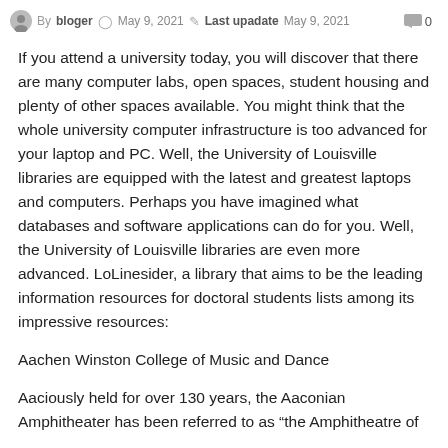By bloger  May 9, 2021  Last upadate  May 9, 2021   0
If you attend a university today, you will discover that there are many computer labs, open spaces, student housing and plenty of other spaces available. You might think that the whole university computer infrastructure is too advanced for your laptop and PC. Well, the University of Louisville libraries are equipped with the latest and greatest laptops and computers. Perhaps you have imagined what databases and software applications can do for you. Well, the University of Louisville libraries are even more advanced. LoLinesider, a library that aims to be the leading information resources for doctoral students lists among its impressive resources:
Aachen Winston College of Music and Dance
Aaciously held for over 130 years, the Aaconian Amphitheater has been referred to as “the Amphitheatre of